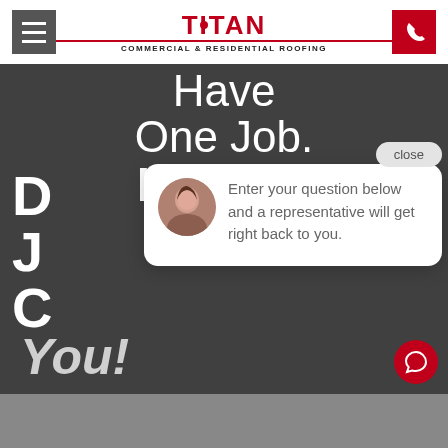[Figure (screenshot): Titan Commercial & Residential Roofing website screenshot with hamburger menu, logo, phone button, dark hero section with text 'Have One Job. If Yours Isn't Done Just Call You!', and a live chat popup overlay]
TITAN COMMERCIAL & RESIDENTIAL ROOFING
Have One Job. If Yours Isn't Done Just Call You!
Enter your question below and a representative will get right back to you.